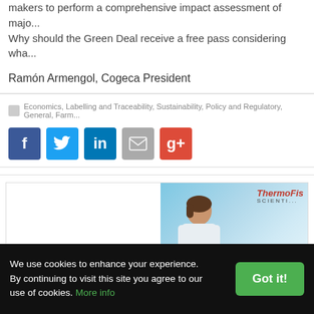makers to perform a comprehensive impact assessment of majo... Why should the Green Deal receive a free pass considering wha...
Ramón Armengol, Cogeca President
Economics, Labelling and Traceability, Sustainability, Policy and Regulatory, General, Farm...
[Figure (infographic): Social sharing buttons: Facebook (blue), Twitter (light blue), LinkedIn (dark blue), Email (grey), Google+ (red)]
[Figure (photo): Thermo Fisher Scientific advertisement banner with a woman scientist and landscape background]
We use cookies to enhance your experience. By continuing to visit this site you agree to our use of cookies. More info